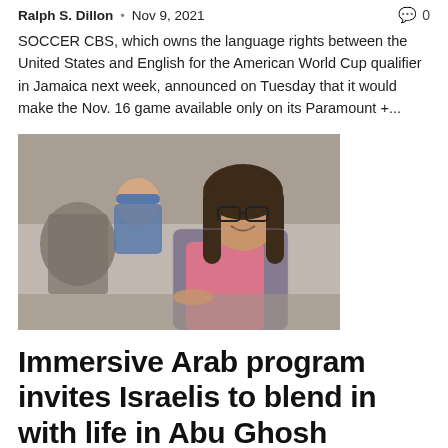Ralph S. Dillon · Nov 9, 2021 · 0 comments
SOCCER CBS, which owns the language rights between the United States and English for the American World Cup qualifier in Jamaica next week, announced on Tuesday that it would make the Nov. 16 game available only on its Paramount +...
[Figure (photo): Two women in a kitchen; one woman in the foreground wearing glasses and a pink top with a patterned wrap, another woman in the background wearing a blue headscarf]
Immersive Arab program invites Israelis to blend in with life in Abu Ghosh